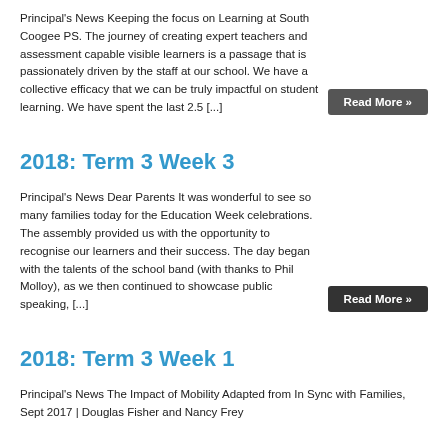Principal's News Keeping the focus on Learning at South Coogee PS. The journey of creating expert teachers and assessment capable visible learners is a passage that is passionately driven by the staff at our school. We have a collective efficacy that we can be truly impactful on student learning. We have spent the last 2.5 [...]
2018: Term 3 Week 3
Principal's News Dear Parents It was wonderful to see so many families today for the Education Week celebrations. The assembly provided us with the opportunity to recognise our learners and their success. The day began with the talents of the school band (with thanks to Phil Molloy), as we then continued to showcase public speaking, [...]
2018: Term 3 Week 1
Principal's News The Impact of Mobility Adapted from In Sync with Families, Sept 2017 | Douglas Fisher and Nancy Frey